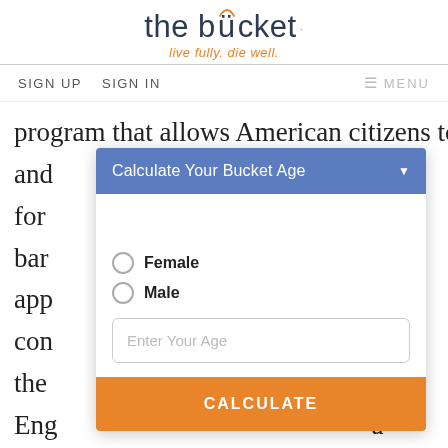the bûcket · live fully. die well.
SIGN UP   SIGN IN   ≡ MENU
program that allows American citizens to live and ... for ... bar... he app... con... und the ... ng Eng... a fur... ans
Calculate Your Bucket Age
Female
Male
Enter Your Age
CALCULATE